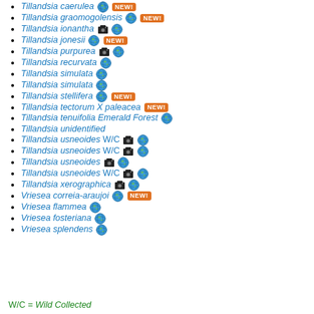Tillandsia caerulea [globe] [NEW!]
Tillandsia graomogolensis [globe] [NEW!]
Tillandsia ionantha [camera] [globe]
Tillandsia jonesii [globe] [NEW!]
Tillandsia purpurea [camera] [globe]
Tillandsia recurvata [globe]
Tillandsia simulata [globe]
Tillandsia simulata [globe]
Tillandsia stellifera [globe] [NEW!]
Tillandsia tectorum X paleacea [NEW!]
Tillandsia tenuifolia Emerald Forest [globe]
Tillandsia unidentified
Tillandsia usneoides W/C [camera] [globe]
Tillandsia usneoides W/C [camera] [globe]
Tillandsia usneoides [camera] [globe]
Tillandsia usneoides W/C [camera] [globe]
Tillandsia xerographica [camera] [globe]
Vriesea correia-araujoi [globe] [NEW!]
Vriesea flammea [globe]
Vriesea fosteriana [globe]
Vriesea splendens [globe]
W/C = Wild Collected